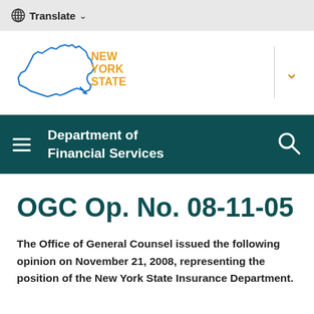🌐 Translate ∨
[Figure (logo): New York State logo with blue outline of NY state map and orange 'NEW YORK STATE' text]
Department of Financial Services
OGC Op. No. 08-11-05
The Office of General Counsel issued the following opinion on November 21, 2008, representing the position of the New York State Insurance Department.